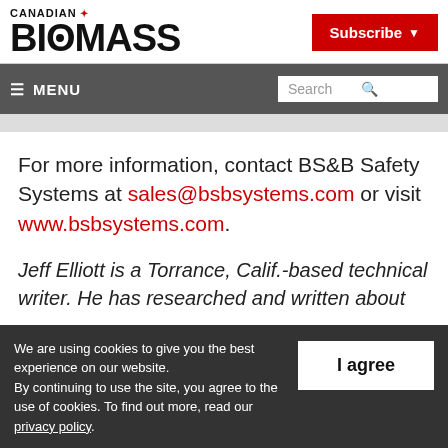CANADIAN BIOMASS
[Figure (logo): Canadian Biomass logo with maple leaf and bold BIOMASS text]
≡ MENU
For more information, contact BS&B Safety Systems at sales@bsbsystems.com or visit www.bsbsystems.com.
Jeff Elliott is a Torrance, Calif.-based technical writer. He has researched and written about
We are using cookies to give you the best experience on our website. By continuing to use the site, you agree to the use of cookies. To find out more, read our privacy policy.